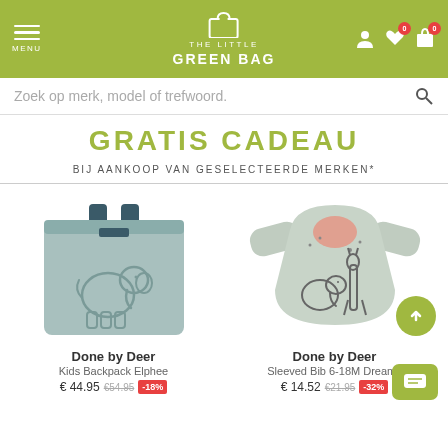THE LITTLE GREEN BAG
Zoek op merk, model of trefwoord.
GRATIS CADEAU
BIJ AANKOOP VAN GESELECTEERDE MERKEN*
[Figure (photo): Light blue/grey kids backpack with embossed elephant design, dark handles and zipper]
Done by Deer
Kids Backpack Elphee
€ 44.95  €54.95  -18%
[Figure (photo): Light grey sleeved bib with elephant and giraffe print, long sleeves]
Done by Deer
Sleeved Bib 6-18M Dreamy
€ 14.52  €21.95  -32%